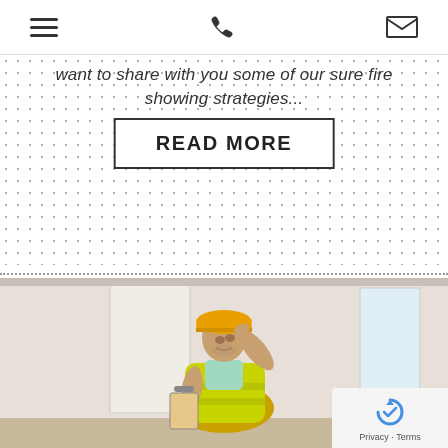Navigation header with hamburger menu, phone icon, and email icon
want to share with you some of our sure fire showing strategies...
READ MORE
[Figure (photo): Construction worker in yellow hard hat and high-visibility vest, holding a clipboard and looking up at the ceiling inside a room]
Privacy · Terms